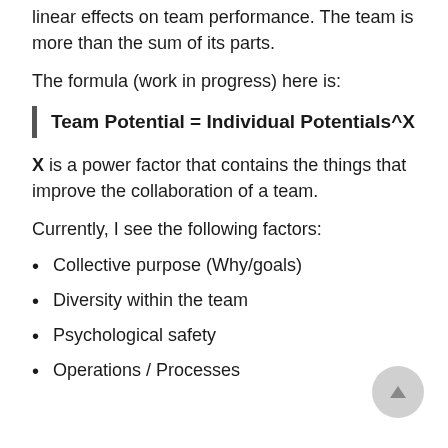linear effects on team performance. The team is more than the sum of its parts.
The formula (work in progress) here is:
X is a power factor that contains the things that improve the collaboration of a team.
Currently, I see the following factors:
Collective purpose (Why/goals)
Diversity within the team
Psychological safety
Operations / Processes